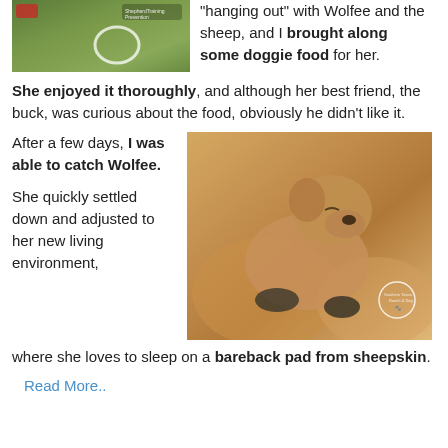[Figure (photo): Photo of a dog outdoors on grass with a red object and a white circular element visible, with a watermark logo in the upper right area]
“hanging out” with Wolfee and the sheep, and I brought along some doggie food for her.
She enjoyed it thoroughly, and although her best friend, the buck, was curious about the food, obviously he didn’t like it.
After a few days, I was able to catch Wolfee.
[Figure (photo): Photo of a small tan/golden puppy sleeping curled up, with a watermark logo in the lower right]
She quickly settled down and adjusted to her new living environment, where she loves to sleep on a bareback pad from sheepskin.
Read More..